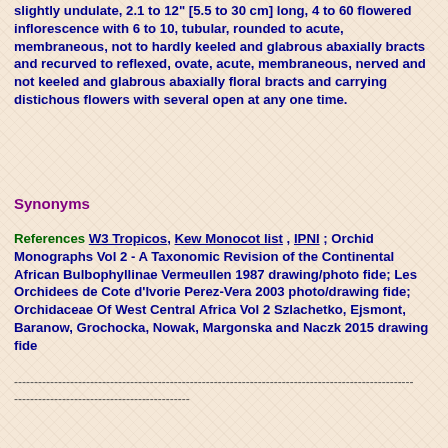slightly undulate, 2.1 to 12" [5.5 to 30 cm] long, 4 to 60 flowered inflorescence with 6 to 10, tubular, rounded to acute, membraneous, not to hardly keeled and glabrous abaxially bracts and recurved to reflexed, ovate, acute, membraneous, nerved and not keeled and glabrous abaxially floral bracts and carrying distichous flowers with several open at any one time.
Synonyms
References W3 Tropicos, Kew Monocot list , IPNI ; Orchid Monographs Vol 2 - A Taxonomic Revision of the Continental African Bulbophyllinae Vermeullen 1987 drawing/photo fide; Les Orchidees de Cote d'Ivorie Perez-Vera 2003 photo/drawing fide; Orchidaceae Of West Central Africa Vol 2 Szlachetko, Ejsmont, Baranow, Grochocka, Nowak, Margonska and Naczk 2015 drawing fide
----------------------------------------------------------------------------------------------------
--------------------------------------------